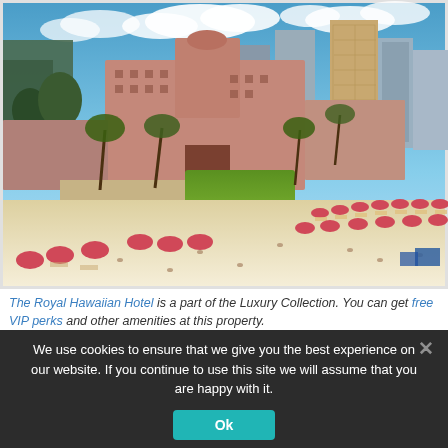[Figure (photo): Aerial view of The Royal Hawaiian Hotel (a pink building) on Waikiki Beach, Honolulu. Pink umbrella-dotted beach in foreground, green lawn and palm trees in middle, pink hotel building and modern city skyscrapers in background under blue sky with clouds.]
The Royal Hawaiian Hotel is a part of the Luxury Collection. You can get free VIP perks and other amenities at this property.
We use cookies to ensure that we give you the best experience on our website. If you continue to use this site we will assume that you are happy with it.